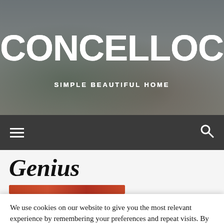[Figure (photo): Hero banner showing a living room interior with sofa, cushions, and coffee table, overlaid with site title and tagline]
CONCELLOCOSPEIT
SIMPLE BEAUTIFUL HOME
Navigation bar with hamburger menu and search icon
Genius
[Figure (photo): Partial thumbnail image with orange-brown tones at top of article]
We use cookies on our website to give you the most relevant experience by remembering your preferences and repeat visits. By clicking "Accept All", you consent to the use of ALL the cookies. However, you may visit "Cookie Settings" to provide a controlled consent.